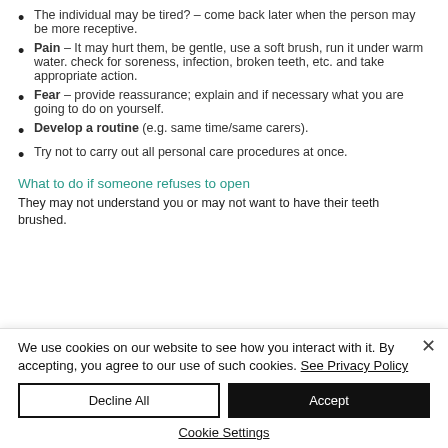The individual may be tired? – come back later when the person may be more receptive.
Pain – It may hurt them, be gentle, use a soft brush, run it under warm water. check for soreness, infection, broken teeth, etc. and take appropriate action.
Fear – provide reassurance; explain and if necessary what you are going to do on yourself.
Develop a routine (e.g. same time/same carers).
Try not to carry out all personal care procedures at once.
What to do if someone refuses to open
They may not understand you or may not want to have their teeth brushed.
We use cookies on our website to see how you interact with it. By accepting, you agree to our use of such cookies. See Privacy Policy
Decline All
Accept
Cookie Settings